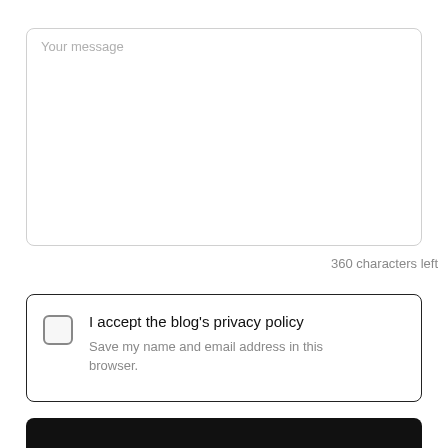Your message
360 characters left
I accept the blog's privacy policy
Save my name and email address in this browser.